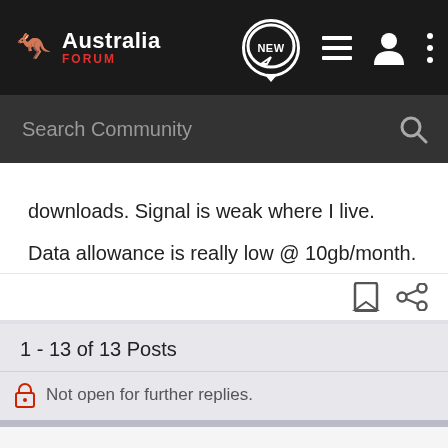[Figure (screenshot): Australia Forum website navigation bar with logo, NEW chat bubble, list icon, user icon, and kebab menu on dark background]
[Figure (screenshot): Search Community input bar with magnifying glass icon on dark grey background]
downloads. Signal is weak where I live.

Data allowance is really low @ 10gb/month.
1 - 13 of 13 Posts
Not open for further replies.
Join the discussion